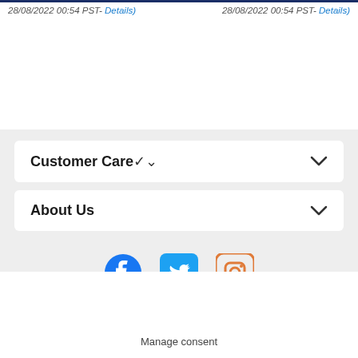28/08/2022 00:54 PST- Details)    28/08/2022 00:54 PST- Details)
Customer Care
About Us
[Figure (other): Social media icons: Facebook (blue circle with f), Twitter (blue bird), Instagram (orange rounded square)]
Manage consent